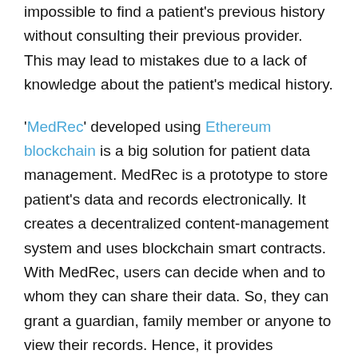impossible to find a patient's previous history without consulting their previous provider. This may lead to mistakes due to a lack of knowledge about the patient's medical history.
'MedRec' developed using Ethereum blockchain is a big solution for patient data management. MedRec is a prototype to store patient's data and records electronically. It creates a decentralized content-management system and uses blockchain smart contracts. With MedRec, users can decide when and to whom they can share their data. So, they can grant a guardian, family member or anyone to view their records. Hence, it provides confidentiality and ease to find a patient's details from anywhere. Consequently, we can reduce the number of deaths from medical mistakes.